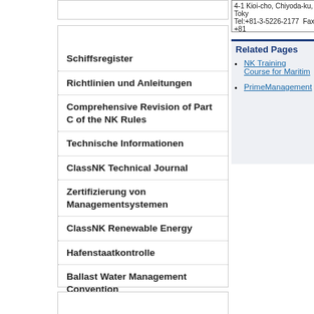4-1 Kioi-cho, Chiyoda-ku, Tokyo
Tel: +81-3-5226-2177  Fax: +81-...
Related Pages
NK Training Course for Maritime...
PrimeManagement
Schiffsregister
Richtlinien und Anleitungen
Comprehensive Revision of Part C of the NK Rules
Technische Informationen
ClassNK Technical Journal
Zertifizierung von Managementsystemen
ClassNK Renewable Energy
Hafenstaatkontrolle
Ballast Water Management Convention
EEXI
e-Certificate Verification
Bewerbungen